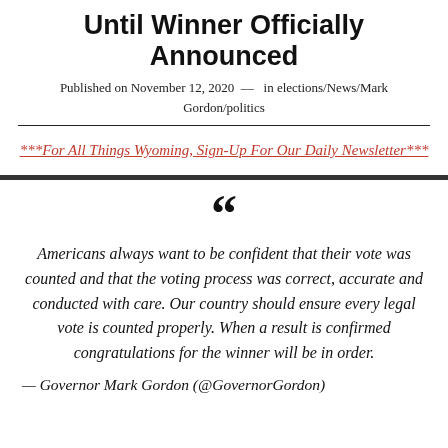Until Winner Officially Announced
Published on November 12, 2020  —  in elections/News/Mark Gordon/politics
***For All Things Wyoming, Sign-Up For Our Daily Newsletter***
Americans always want to be confident that their vote was counted and that the voting process was correct, accurate and conducted with care. Our country should ensure every legal vote is counted properly. When a result is confirmed congratulations for the winner will be in order.
— Governor Mark Gordon (@GovernorGordon)